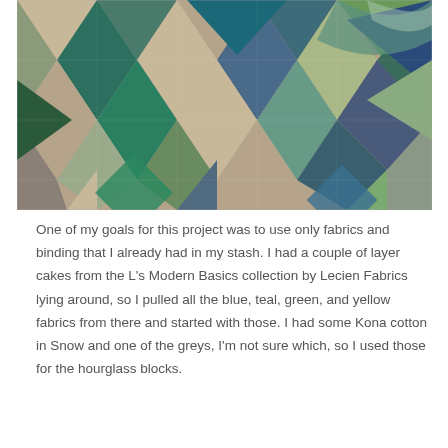[Figure (photo): Close-up photograph of a patchwork quilt with hourglass/pinwheel block pattern featuring green, teal, blue, beige, and grey fabric pieces]
One of my goals for this project was to use only fabrics and binding that I already had in my stash. I had a couple of layer cakes from the L's Modern Basics collection by Lecien Fabrics lying around, so I pulled all the blue, teal, green, and yellow fabrics from there and started with those. I had some Kona cotton in Snow and one of the greys, I'm not sure which, so I used those for the hourglass blocks.